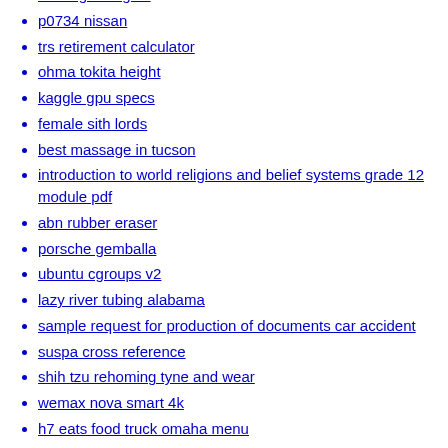to led grow lights
p0734 nissan
trs retirement calculator
ohma tokita height
kaggle gpu specs
female sith lords
best massage in tucson
introduction to world religions and belief systems grade 12 module pdf
abn rubber eraser
porsche gemballa
ubuntu cgroups v2
lazy river tubing alabama
sample request for production of documents car accident
suspa cross reference
shih tzu rehoming tyne and wear
wemax nova smart 4k
h7 eats food truck omaha menu
imbalance trading strategy pdf
meshforce mesh wifi
uncharted official website
flagler estates property for sale
2007 gold quarter
pokeclicker scripts
light triad scale pdf
figma view